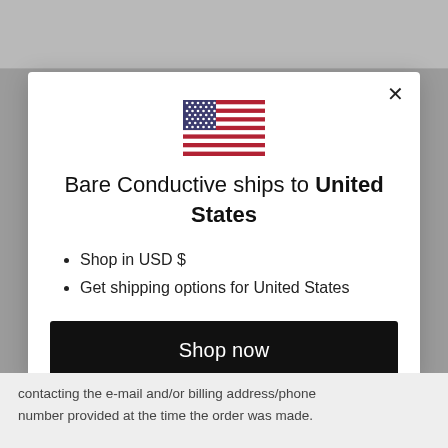[Figure (illustration): US flag emoji/illustration centered at top of modal]
Bare Conductive ships to United States
Shop in USD $
Get shipping options for United States
Shop now
Change shipping country
contacting the e-mail and/or billing address/phone number provided at the time the order was made.